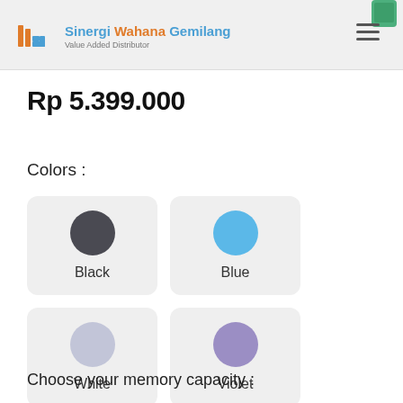Sinergi Wahana Gemilang — Value Added Distributor
Rp 5.399.000
Colors :
[Figure (infographic): Four color option cards in a 2x2 grid: Black (dark gray circle), Blue (light blue circle), White (light lavender circle), Violet (medium purple circle)]
Choose your memory capacity :